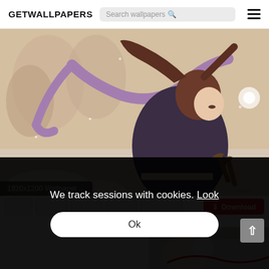GETWALLPAPERS
[Figure (screenshot): Anime-style illustration of a samurai character with long flowing dark hair and purple scarf in a snowy scene, with swords at their back]
1920x1200 Wallpaper ...
We track sessions with cookies. Look
Ok